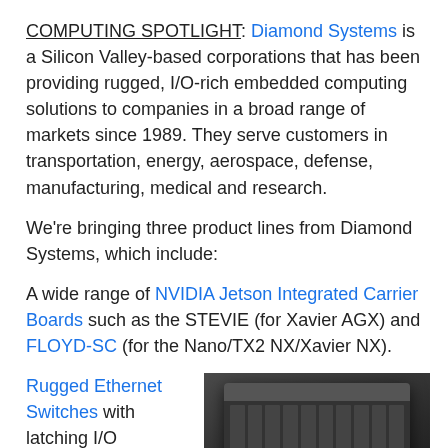COMPUTING SPOTLIGHT: Diamond Systems is a Silicon Valley-based corporations that has been providing rugged, I/O-rich embedded computing solutions to companies in a broad range of markets since 1989. They serve customers in transportation, energy, aerospace, defense, manufacturing, medical and research.
We're bringing three product lines from Diamond Systems, which include:
A wide range of NVIDIA Jetson Integrated Carrier Boards such as the STEVIE (for Xavier AGX) and FLOYD-SC (for the Nano/TX2 NX/Xavier NX).
Rugged Ethernet Switches with latching I/O connectors
[Figure (photo): Photo of a rugged embedded computing device, dark grey/black with fins, with a 'Chat now' overlay bar at the bottom.]